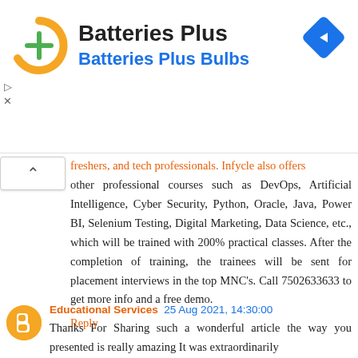[Figure (logo): Batteries Plus ad banner with orange circular logo with green plus sign, company name 'Batteries Plus', subtitle 'Batteries Plus Bulbs' in blue, and a blue diamond-shaped navigation arrow icon on the right]
freshers, and tech professionals. Infycle also offers other professional courses such as DevOps, Artificial Intelligence, Cyber Security, Python, Oracle, Java, Power BI, Selenium Testing, Digital Marketing, Data Science, etc., which will be trained with 200% practical classes. After the completion of training, the trainees will be sent for placement interviews in the top MNC's. Call 7502633633 to get more info and a free demo.
Reply
Educational Services  25 Aug 2021, 14:30:00
Thanks For Sharing such a wonderful article the way you presented is really amazing It was extraordinarily